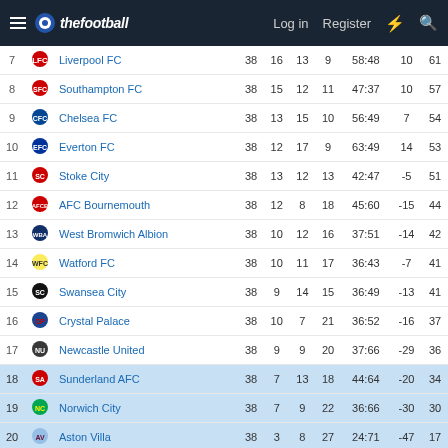thefootballforum.net | Log in | Register
| # |  | Team | P | W | D | L | GD | +/- | Pts |
| --- | --- | --- | --- | --- | --- | --- | --- | --- | --- |
| 7 |  | Liverpool FC | 38 | 16 | 13 | 9 | 58:48 | 10 | 61 |
| 8 |  | Southampton FC | 38 | 15 | 12 | 11 | 47:37 | 10 | 57 |
| 9 |  | Chelsea FC | 38 | 13 | 15 | 10 | 56:49 | 7 | 54 |
| 10 |  | Everton FC | 38 | 12 | 17 | 9 | 63:49 | 14 | 53 |
| 11 |  | Stoke City | 38 | 13 | 12 | 13 | 42:47 | -5 | 51 |
| 12 |  | AFC Bournemouth | 38 | 12 | 8 | 18 | 45:60 | -15 | 44 |
| 13 |  | West Bromwich Albion | 38 | 10 | 12 | 16 | 37:51 | -14 | 42 |
| 14 |  | Watford FC | 38 | 10 | 11 | 17 | 36:43 | -7 | 41 |
| 15 |  | Swansea City | 38 | 9 | 14 | 15 | 36:49 | -13 | 41 |
| 16 |  | Crystal Palace | 38 | 10 | 7 | 21 | 36:52 | -16 | 37 |
| 17 |  | Newcastle United | 38 | 9 | 9 | 20 | 37:66 | -29 | 36 |
| 18 |  | Sunderland AFC | 38 | 7 | 13 | 18 | 44:64 | -20 | 34 |
| 19 |  | Norwich City | 38 | 7 | 9 | 22 | 36:66 | -30 | 30 |
| 20 |  | Aston Villa | 38 | 3 | 8 | 27 | 24:71 | -47 | 17 |
Woof. Agony for Sunderland, Manchester United, Spurs and Arsenal (late season push coming), whilst Leicester hold on by the skin of their teeth. I would take it just for that.
hodge